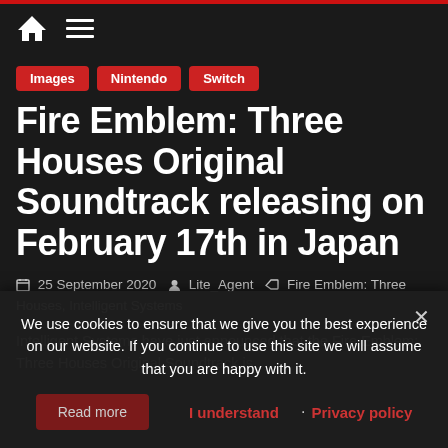Home | Menu
Images
Nintendo
Switch
Fire Emblem: Three Houses Original Soundtrack releasing on February 17th in Japan
25 September 2020  Lite_Agent  Fire Emblem: Three Houses, Intelligent Systems
Intelligent Systems have just announced that the Fire Emblem: Three Houses Original Soundtrack is...
We use cookies to ensure that we give you the best experience on our website. If you continue to use this site we will assume that you are happy with it.
Read more  I understand  Privacy policy